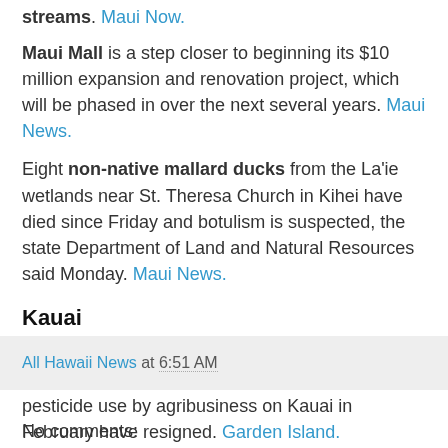streams. Maui Now.
Maui Mall is a step closer to beginning its $10 million expansion and renovation project, which will be phased in over the next several years. Maui News.
Eight non-native mallard ducks from the La'ie wetlands near St. Theresa Church in Kihei have died since Friday and botulism is suspected, the state Department of Land and Natural Resources said Monday. Maui News.
Kauai
Two seed industry members of the Joint Fact Finding Group that released a draft report of pesticide use by agribusiness on Kauai in February have resigned. Garden Island.
All Hawaii News at 6:51 AM
No comments: